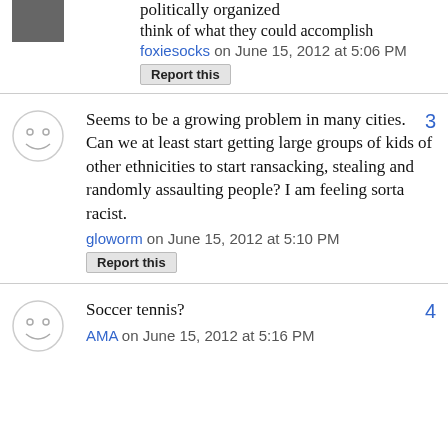politically organized
think of what they could accomplish
foxiesocks on June 15, 2012 at 5:06 PM
Report this
Seems to be a growing problem in many cities. Can we at least start getting large groups of kids of other ethnicities to start ransacking, stealing and randomly assaulting people? I am feeling sorta racist.
gloworm on June 15, 2012 at 5:10 PM
Report this
Soccer tennis?
AMA on June 15, 2012 at 5:16 PM